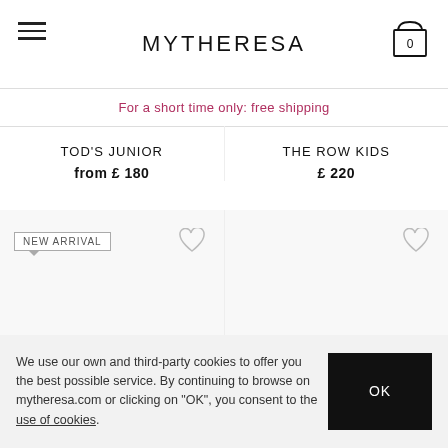MYTHERESA
For a short time only: free shipping
TOD'S JUNIOR
from £ 180
THE ROW KIDS
£ 220
[Figure (screenshot): Product image area with NEW ARRIVAL badge and heart/wishlist icons for two product columns]
We use our own and third-party cookies to offer you the best possible service. By continuing to browse on mytheresa.com or clicking on "OK", you consent to the use of cookies.